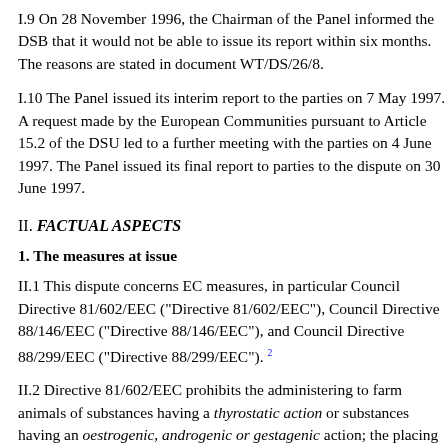I.9 On 28 November 1996, the Chairman of the Panel informed the DSB that it would not be able to issue its report within six months. The reasons are stated in document WT/DS/26/8.
I.10 The Panel issued its interim report to the parties on 7 May 1997. A request made by the European Communities pursuant to Article 15.2 of the DSU led to a further meeting with the parties on 4 June 1997. The Panel issued its final report to parties to the dispute on 30 June 1997.
II. FACTUAL ASPECTS
1. The measures at issue
II.1 This dispute concerns EC measures, in particular Council Directive 81/602/EEC ("Directive 81/602/EEC"), Council Directive 88/146/EEC ("Directive 88/146/EEC"), and Council Directive 88/299/EEC ("Directive 88/299/EEC"). 2
II.2 Directive 81/602/EEC prohibits the administering to farm animals of substances having a thyrostatic action or substances having an oestrogenic, androgenic or gestagenic action; the placing on the market or slaughtering of farm animals to which such substances have been administered; the placing on the market of meat from such animals; the processing of meat from such animals and the placing on the market of meat products prepared from or with such meat. The Directive provides two exceptions to this prohibition: one exception is provided for substances with an oestrogenic, androgenic or gestagenic action; the other for the exceptions are stated in...